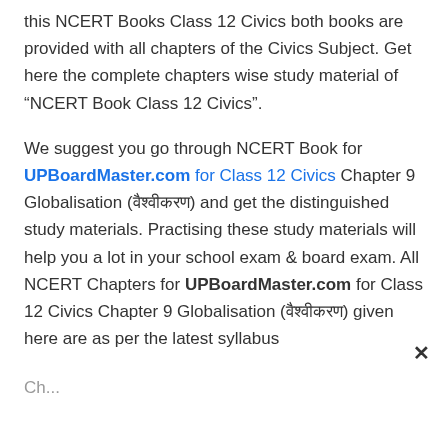this NCERT Books Class 12 Civics both books are provided with all chapters of the Civics Subject. Get here the complete chapters wise study material of “NCERT Book Class 12 Civics”.
We suggest you go through NCERT Book for UPBoardMaster.com for Class 12 Civics Chapter 9 Globalisation (वैश्वीकरण) and get the distinguished study materials. Practising these study materials will help you a lot in your school exam & board exam. All NCERT Chapters for UPBoardMaster.com for Class 12 Civics Chapter 9 Globalisation (वैश्वीकरण) given here are as per the latest syllabus